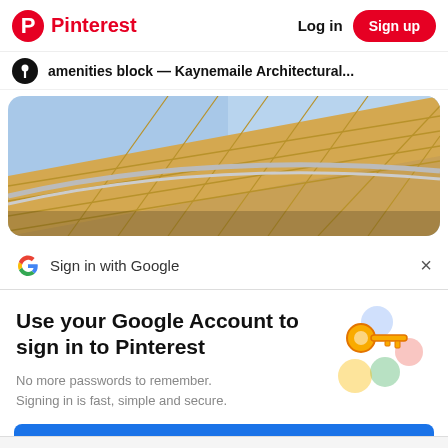Pinterest — Log in — Sign up
amenities block — Kaynemaile Architectural...
[Figure (photo): Close-up photograph of a wooden lattice/mesh architectural canopy or roof structure against a blue sky, with curved metal beams visible.]
Sign in with Google
Use your Google Account to sign in to Pinterest
[Figure (illustration): Illustration of a golden key with colorful circular shapes in blue, green, yellow and pink, representing Google Account security.]
No more passwords to remember.
Signing in is fast, simple and secure.
Continue